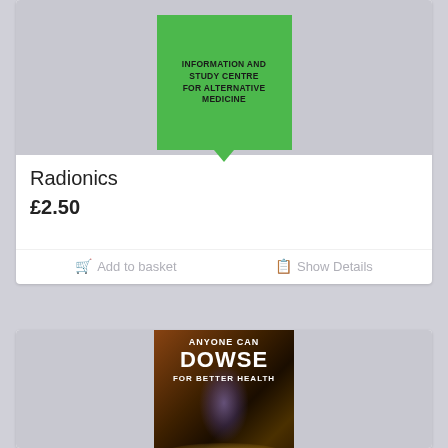[Figure (photo): Green book cover with text 'INFORMATION AND STUDY CENTRE FOR ALTERNATIVE MEDICINE']
Radionics
£2.50
Add to basket   Show Details
[Figure (photo): Book cover 'ANYONE CAN DOWSE FOR BETTER HEALTH' with colorful abstract background]